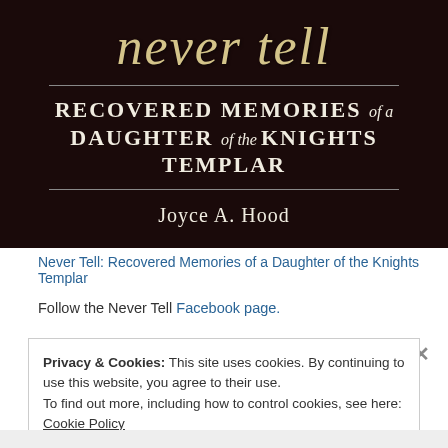[Figure (illustration): Book cover of 'Never Tell: Recovered Memories of a Daughter of the Knights Templar' by Joyce A. Hood. Dark red/brown background with cursive title text in gold and subtitle in white serif font.]
Never Tell: Recovered Memories of a Daughter of the Knights Templar
Follow the Never Tell Facebook page.
Privacy & Cookies: This site uses cookies. By continuing to use this website, you agree to their use.
To find out more, including how to control cookies, see here: Cookie Policy
Close and accept